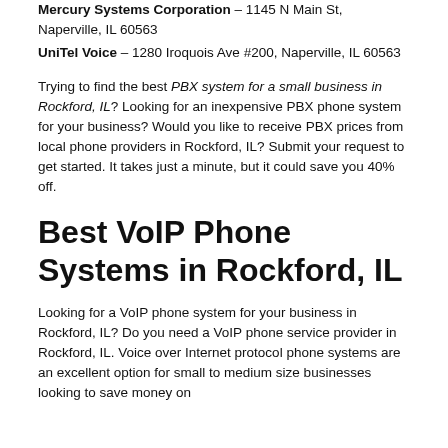Mercury Systems Corporation – 1145 N Main St, Naperville, IL 60563
UniTel Voice – 1280 Iroquois Ave #200, Naperville, IL 60563
Trying to find the best PBX system for a small business in Rockford, IL? Looking for an inexpensive PBX phone system for your business? Would you like to receive PBX prices from local phone providers in Rockford, IL? Submit your request to get started. It takes just a minute, but it could save you 40% off.
Best VoIP Phone Systems in Rockford, IL
Looking for a VoIP phone system for your business in Rockford, IL? Do you need a VoIP phone service provider in Rockford, IL. Voice over Internet protocol phone systems are an excellent option for small to medium size businesses looking to save money on